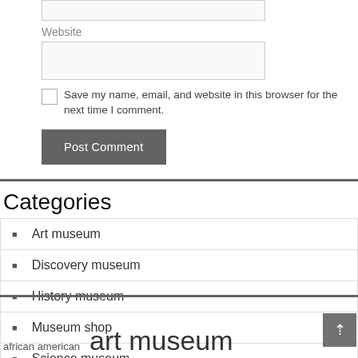Website
Save my name, email, and website in this browser for the next time I comment.
Post Comment
Categories
Art museum
Discovery museum
History museum
Museum shop
Science museum
african american  art museum